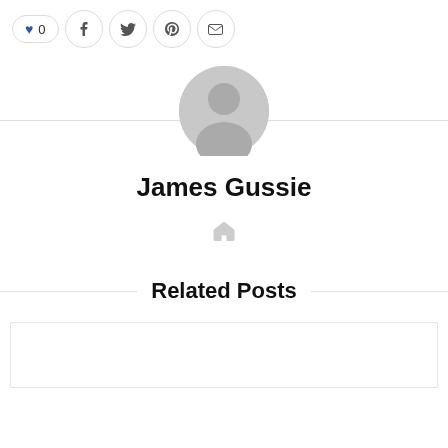[Figure (infographic): Social sharing bar with heart/like button showing count 0, Facebook, Twitter, Pinterest, and email icons]
[Figure (photo): Default user avatar placeholder — grey circle with silhouette of a person]
James Gussie
[Figure (infographic): Small grey home/website icon]
Related Posts
[Figure (photo): Empty image placeholder box for a related post thumbnail]